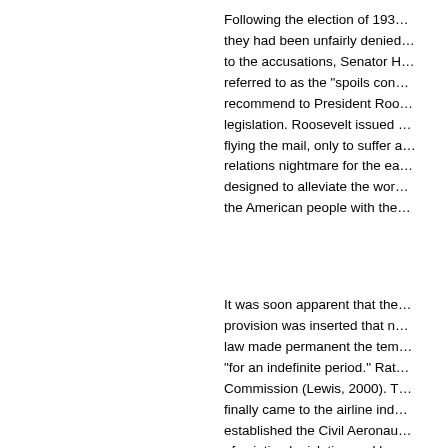Following the election of 193... they had been unfairly denied... to the accusations, Senator H... referred to as the "spoils con... recommend to President Roo... legislation. Roosevelt issued ... flying the mail, only to suffer a... relations nightmare for the ea... designed to alleviate the wor... the American people with the...
It was soon apparent that the... provision was inserted that n... law made permanent the tem... "for an indefinite period." Rat... Commission (Lewis, 2000). T... finally came to the airline ind... established the Civil Aeronau... of aviation legislation and be...